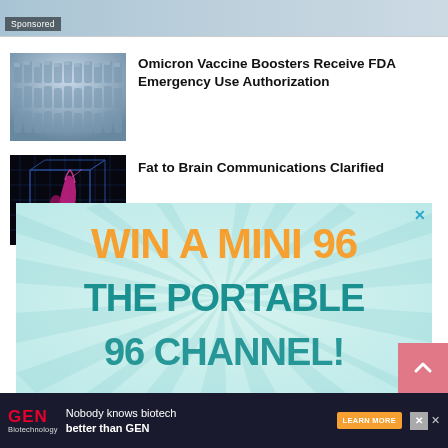[Figure (screenshot): Sponsored content bar at top with image and 'Sponsored' label overlay]
[Figure (photo): Rows of vaccine vials thumbnail image]
Omicron Vaccine Boosters Receive FDA Emergency Use Authorization
[Figure (photo): 3D neural/fat visualization on black background]
Fat to Brain Communications Clarified
[Figure (infographic): Advertisement: WIN A MINI 96 THE PORTABLE [96 CHANNEL] with teal sunburst background and close X button]
[Figure (screenshot): GEN Biotechnology bottom advertisement bar: Nobody knows biotech better than GEN, with Learn More button and close X]